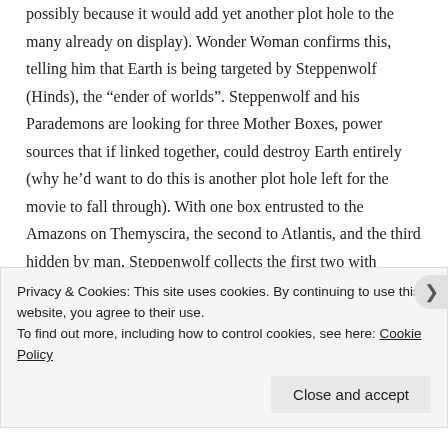possibly because it would add yet another plot hole to the many already on display). Wonder Woman confirms this, telling him that Earth is being targeted by Steppenwolf (Hinds), the "ender of worlds". Steppenwolf and his Parademons are looking for three Mother Boxes, power sources that if linked together, could destroy Earth entirely (why he'd want to do this is another plot hole left for the movie to fall through). With one box entrusted to the Amazons on Themyscira, the second to Atlantis, and the third hidden by man, Steppenwolf collects the first two with unseemly ease, leaving Batman and Wonder Woman with only one choice: to find other people with "abilities" who can help try and defeat Steppenwolf;
Privacy & Cookies: This site uses cookies. By continuing to use this website, you agree to their use.
To find out more, including how to control cookies, see here: Cookie Policy